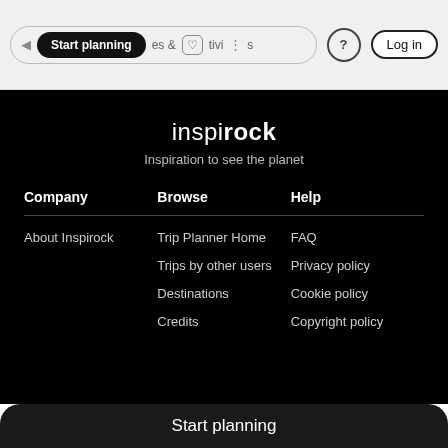Start planning  &  Activities  ?  Log in
inspirock
Inspiration to see the planet
Company
Browse
Help
About Inspirock
Trip Planner Home
FAQ
Trips by other users
Privacy policy
Destinations
Cookie policy
Credits
Copyright policy
Start planning